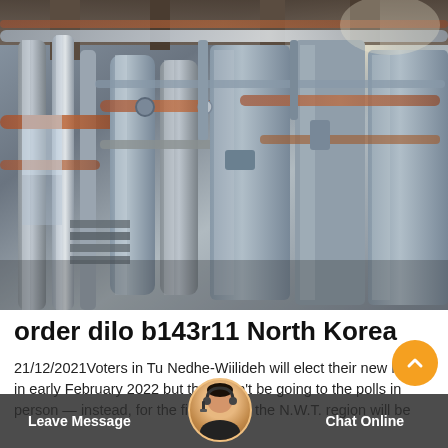[Figure (photo): Industrial machinery interior showing metal pipes, tubes, and equipment in a factory or power plant setting. The image shows complex pipe networks, cylindrical containers, and metallic structures with rust and industrial wear.]
order dilo b143r11 North Korea
21/12/2021Voters in Tu Nedhe-Wiilideh will elect their new MLA in early February 2022 but they won't be going to the polls in person — instead, for the first time in the N.W.T. region will be